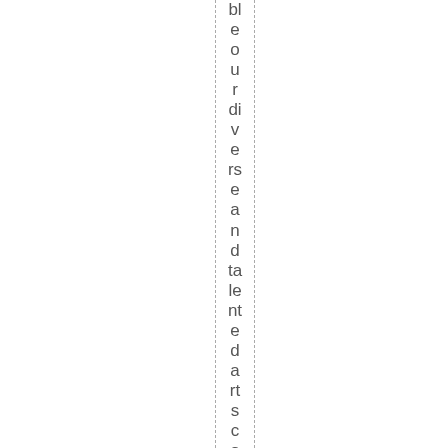bl e o u r di v e rs e a n d ta le nt e d a rt s c o mm